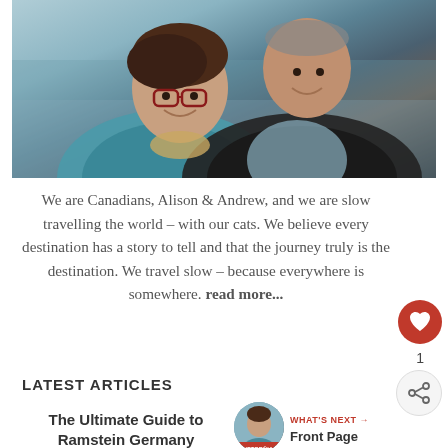[Figure (photo): Two people, a woman with glasses and short dark hair wearing a teal jacket, and a man in a dark jacket with a light blue shirt, laughing together outdoors near water.]
We are Canadians, Alison & Andrew, and we are slow travelling the world – with our cats. We believe every destination has a story to tell and that the journey truly is the destination. We travel slow – because everywhere is somewhere. read more...
LATEST ARTICLES
WHAT'S NEXT → Front Page
The Ultimate Guide to Ramstein Germany